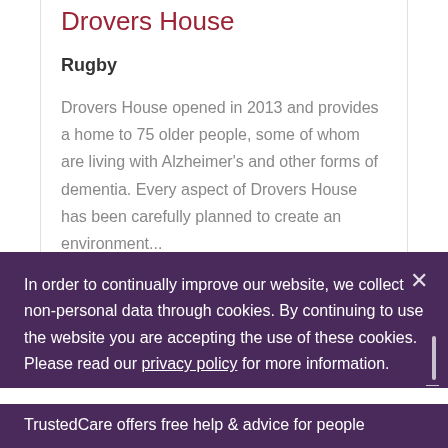Drovers House
Rugby
Drovers House opened in 2013 and provides a home to 75 older people, some of whom are living with Alzheimer's and other forms of dementia. Every aspect of Drovers House has been carefully planned to create an environment...
In order to continually improve our website, we collect non-personal data through cookies. By continuing to use the website you are accepting the use of these cookies. Please read our privacy policy for more information.
TrustedCare offers free help & advice for people